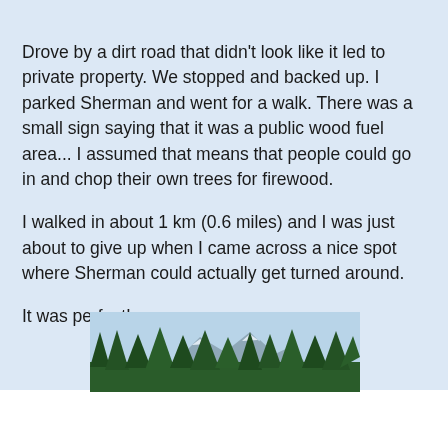Drove by a dirt road that didn't look like it led to private property. We stopped and backed up. I parked Sherman and went for a walk. There was a small sign saying that it was a public wood fuel area... I assumed that means that people could go in and chop their own trees for firewood.
I walked in about 1 km (0.6 miles) and I was just about to give up when I came across a nice spot where Sherman could actually get turned around.
It was perfect!
[Figure (photo): Outdoor landscape photo showing evergreen trees (spruce/fir) in the foreground with mountain peaks visible in the background under a partly cloudy sky.]